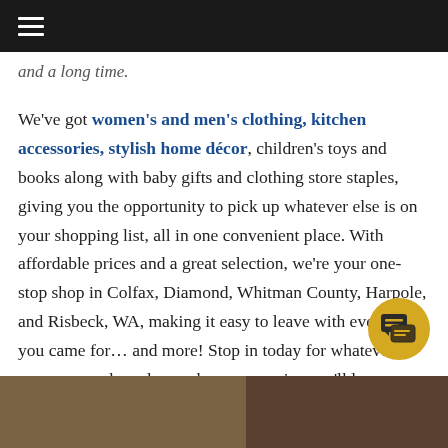≡ (navigation menu bar)
and a long time.
We've got women's and men's clothing, kitchen accessories, stylish home décor, children's toys and books along with baby gifts and clothing store staples, giving you the opportunity to pick up whatever else is on your shopping list, all in one convenient place. With affordable prices and a great selection, we're your one-stop shop in Colfax, Diamond, Whitman County, Harpole, and Risbeck, WA, making it easy to leave with everything you came for… and more! Stop in today for whatever your personal needs may be, we promise you'll love coming back to Tick Kloc…g!
[Figure (photo): Bottom portion of a wooden or rustic interior photo, partly obscured, showing wood tones in brown and amber.]